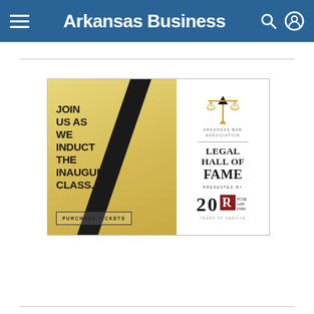Arkansas Business
[Figure (illustration): Advertisement for Arkansas Bar Association Legal Hall of Fame presented by Rose Law Firm. Left gold panel with diagonal black stripe reads: JOIN US AS WE INDUCT THE INAUGURAL CLASS. with a PURCHASE TICKETS button. Right white panel shows scales of justice logo, ARKANSAS BAR ASSOCIATION text, LEGAL HALL OF FAME heading, PRESENTED BY, and Rose Law Firm 200 YEARS OF SERVICE logo.]